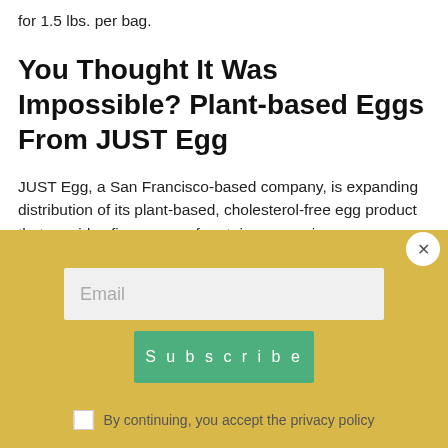for 1.5 lbs. per bag.
You Thought It Was Impossible? Plant-based Eggs From JUST Egg
JUST Egg, a San Francisco-based company, is expanding distribution of its plant-based, cholesterol-free egg product that provides five grams of protein per serving, CleanTechnica reports. Made from mung beans and Canola oil, JUST Egg replaces chicken-source eggs in cooking and baking, and is kosher as well as GMO-free. The sustainability results are impressive: on a per-serving basis, JUST Egg requires 98% less water and 86% less land than chicken-laid eggs, it has a 93%
Email
Subscribe
By continuing, you accept the privacy policy